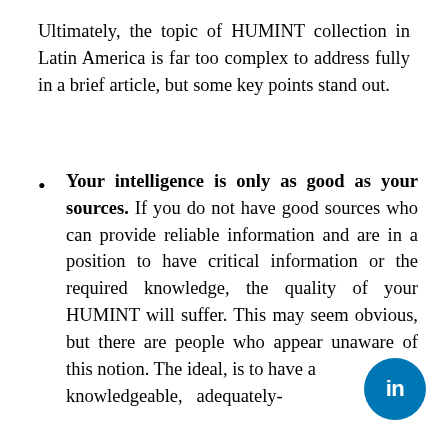Ultimately, the topic of HUMINT collection in Latin America is far too complex to address fully in a brief article, but some key points stand out.
Your intelligence is only as good as your sources. If you do not have good sources who can provide reliable information and are in a position to have critical information or the required knowledge, the quality of your HUMINT will suffer. This may seem obvious, but there are people who appear unaware of this notion. The ideal, is to have a knowledgeable, adequately-
[Figure (logo): LinkedIn circular logo badge in blue with white 'in' text]